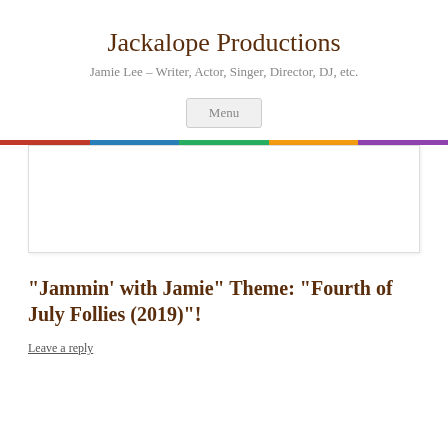Jackalope Productions
Jamie Lee – Writer, Actor, Singer, Director, DJ, etc.
Menu
[Figure (photo): A rectangular image placeholder with a thin border and subtle shadow below the navigation stripe.]
“Jammin’ with Jamie” Theme: “Fourth of July Follies (2019)”!
Leave a reply